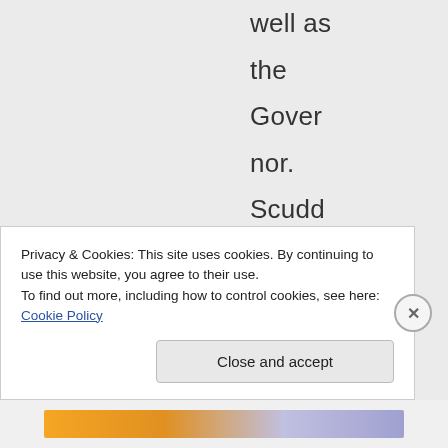well as the Governor. Scudder was also very involved in the
Privacy & Cookies: This site uses cookies. By continuing to use this website, you agree to their use. To find out more, including how to control cookies, see here: Cookie Policy
Close and accept